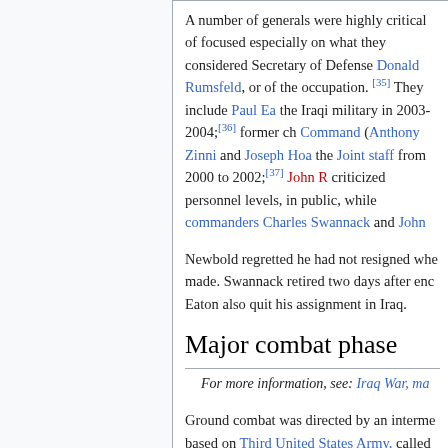A number of generals were highly critical of focused especially on what they considered Secretary of Defense Donald Rumsfeld, or of the occupation. [35] They include Paul Ea the Iraqi military in 2003-2004;[36] former ch Command (Anthony Zinni and Joseph Hoa the Joint staff from 2000 to 2002;[37] John R criticized personnel levels, in public, while commanders Charles Swannack and John
Newbold regretted he had not resigned when made. Swannack retired two days after enc Eaton also quit his assignment in Iraq.
Major combat phase
For more information, see: Iraq War, ma
Ground combat was directed by an interme based on Third United States Army, called Combat Command (CFLCC) under LTG Da